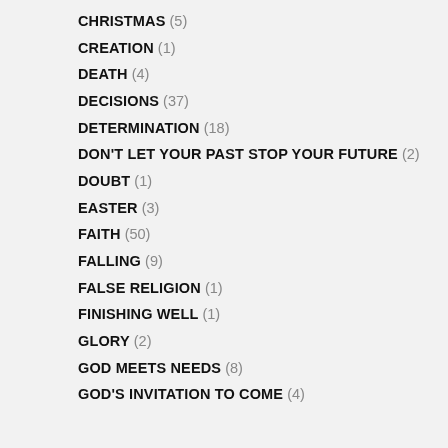CHRISTMAS (5)
CREATION (1)
DEATH (4)
DECISIONS (37)
DETERMINATION (18)
DON'T LET YOUR PAST STOP YOUR FUTURE (2)
DOUBT (1)
EASTER (3)
FAITH (50)
FALLING (9)
FALSE RELIGION (1)
FINISHING WELL (1)
GLORY (2)
GOD MEETS NEEDS (8)
GOD'S INVITATION TO COME (4)